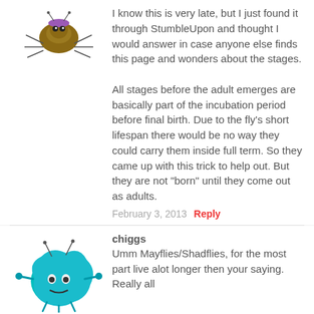I know this is very late, but I just found it through StumbleUpon and thought I would answer in case anyone else finds this page and wonders about the stages.
All stages before the adult emerges are basically part of the incubation period before final birth. Due to the fly's short lifespan there would be no way they could carry them inside full term. So they came up with this trick to help out. But they are not “born” until they come out as adults.
February 3, 2013 Reply
[Figure (illustration): Cartoon avatar of a fly-like insect with purple/brown colors]
chiggs
Umm Mayflies/Shadflies, for the most part live alot longer then your saying. Really all
[Figure (illustration): Cartoon avatar of a blue blob-like creature]